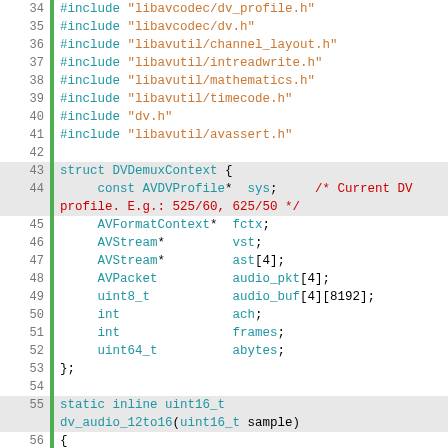[Figure (screenshot): Source code viewer showing C code from a DV demuxer file, lines 34-65, with line numbers, green change indicators, and syntax highlighting in blue, orange, and red.]